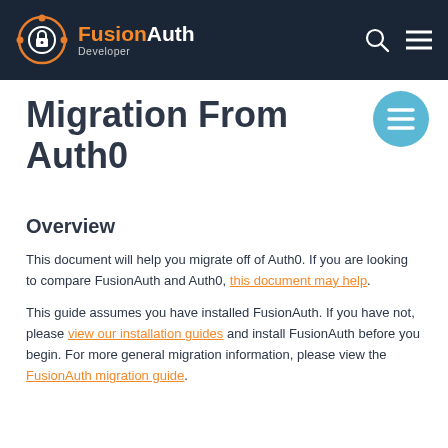FusionAuth Developer
Migration From Auth0
Overview
This document will help you migrate off of Auth0. If you are looking to compare FusionAuth and Auth0, this document may help.
This guide assumes you have installed FusionAuth. If you have not, please view our installation guides and install FusionAuth before you begin. For more general migration information, please view the FusionAuth migration guide.